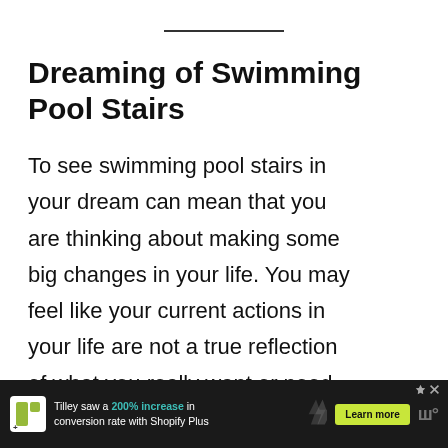Dreaming of Swimming Pool Stairs
To see swimming pool stairs in your dream can mean that you are thinking about making some big changes in your life. You may feel like your current actions in your life are not a true reflection of what you really want or need.
[Figure (infographic): Heart/like button (teal circle with white heart icon) with count 16 below, and a share button (white circle with share icon) below that]
[Figure (infographic): Advertisement banner: Shopify Plus ad with logo, text 'Tilley saw a 200% increase in conversion rate with Shopify Plus', Learn more button, upward arrows graphic, and W logo]